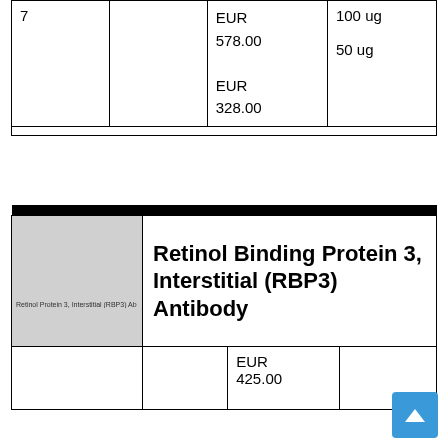|  |  | Price |  |
| --- | --- | --- | --- |
| 7 |  | EUR 578.00
EUR 328.00 | 100 ug
50 ug |
[Figure (photo): Product image placeholder for Retinol Binding Protein 3, Interstitial (RBP3) Antibody]
Retinol Binding Protein 3, Interstitial (RBP3) Antibody
|  |  | Price |  |
| --- | --- | --- | --- |
|  |  | EUR 425.00 |  |